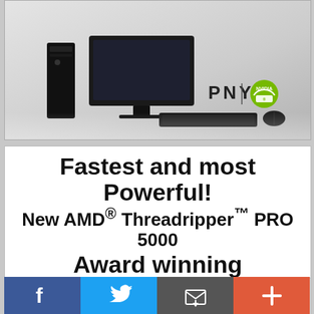[Figure (photo): PNY and NVIDIA co-branded advertisement showing a black workstation tower, monitor, keyboard and mouse on a light grey reflective surface. PNY logo and NVIDIA logo appear in the lower right.]
Fastest and most Powerful! New AMD® Threadripper™ PRO 5000 Award winning CAD Workstations, Laptops & HPC based on NVIDIA® RTX & Ampere™ GPU, Intel® & AMD® CPU
[Figure (logo): AMD logo, NVIDIA Preferred Partner logo, and @Xi logo side by side]
[Figure (infographic): Social sharing bar with Facebook, Twitter, email and plus buttons]